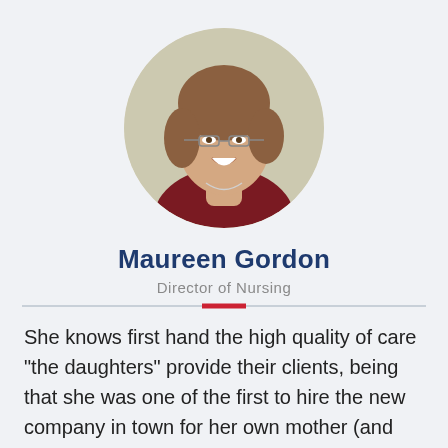[Figure (photo): Circular headshot photo of Maureen Gordon, a woman with short brown hair wearing glasses and a dark red top, smiling]
Maureen Gordon
Director of Nursing
She knows first hand the high quality of care "the daughters" provide their clients, being that she was one of the first to hire the new company in town for her own mother (and that